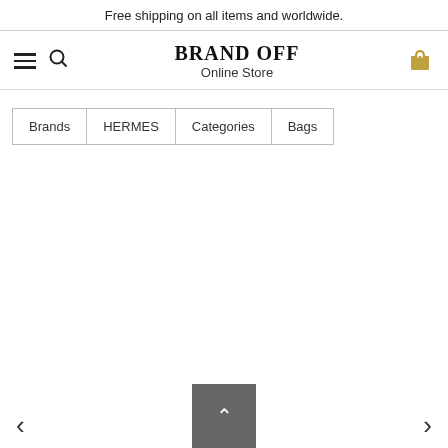Free shipping on all items and worldwide.
BRAND OFF
Online Store
Brands
HERMES
Categories
Bags